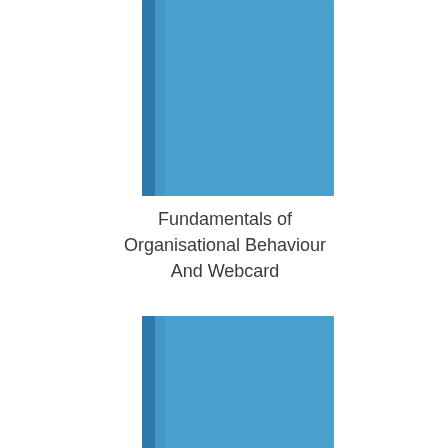[Figure (illustration): Top view of a book with blue cover, shown from above at slight angle. Blue rectangular cover with a dark spine visible on the left side.]
Fundamentals of Organisational Behaviour And Webcard
[Figure (illustration): Bottom portion of the same book with blue cover, shown from above at slight angle. Blue rectangular cover with a dark spine visible on the left side.]